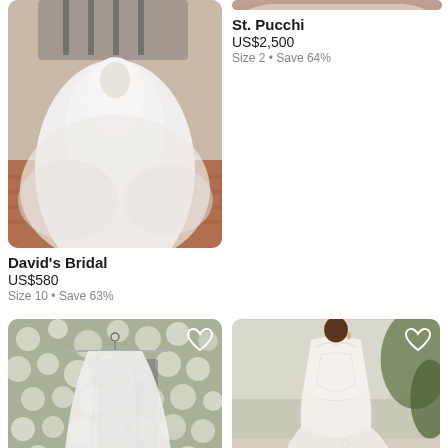[Figure (photo): Wedding dress on model, white tulle ball gown on outdoor steps, left top]
David's Bridal
US$580
Size 10 • Save 63%
[Figure (photo): Partial cropped wedding dress top, right top strip]
St. Pucchi
US$2,500
Size 2 • Save 64%
[Figure (photo): White wedding dress hanging on hanger in front of flower wall, heart icon overlay, bottom left]
[Figure (photo): Model wearing fitted lace mermaid wedding gown outdoors, heart icon overlay, bottom right]
Justin Alexander